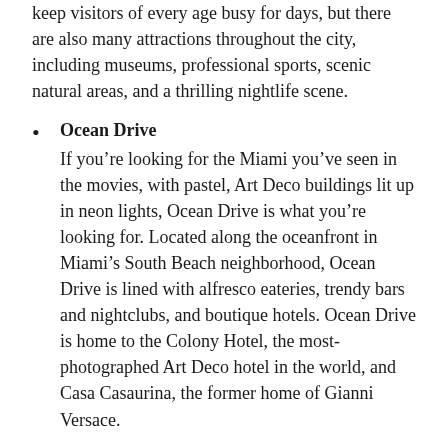keep visitors of every age busy for days, but there are also many attractions throughout the city, including museums, professional sports, scenic natural areas, and a thrilling nightlife scene.
Ocean Drive
If you're looking for the Miami you've seen in the movies, with pastel, Art Deco buildings lit up in neon lights, Ocean Drive is what you're looking for. Located along the oceanfront in Miami's South Beach neighborhood, Ocean Drive is lined with alfresco eateries, trendy bars and nightclubs, and boutique hotels. Ocean Drive is home to the Colony Hotel, the most-photographed Art Deco hotel in the world, and Casa Casaurina, the former home of Gianni Versace.
Little Havana
Miami is home to the largest Cuban population in the world outside of Cuba itself, and that diversity is reflected in the Little Havana neighborhood